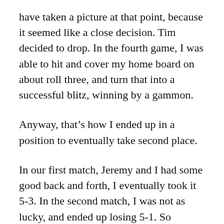have taken a picture at that point, because it seemed like a close decision. Tim decided to drop. In the fourth game, I was able to hit and cover my home board on about roll three, and turn that into a successful blitz, winning by a gammon.
Anyway, that's how I ended up in a position to eventually take second place.
In our first match, Jeremy and I had some good back and forth, I eventually took it 5–3. In the second match, I was not as lucky, and ended up losing 5–1. So Jeremy gets the first tournament win of 2020, and is currently leading the pack in terms of (1) total matches played, (2)